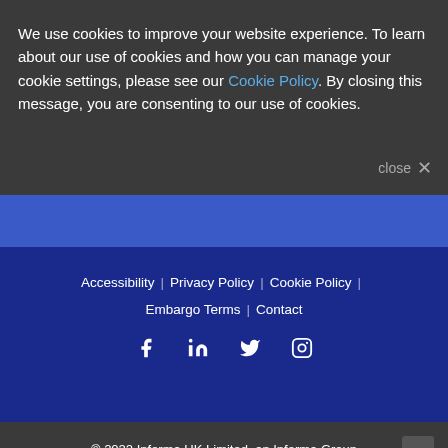We use cookies to improve your website experience. To learn about our use of cookies and how you can manage your cookie settings, please see our Cookie Policy. By closing this message, you are consenting to our use of cookies.
close ×
Accessibility | Privacy Policy | Cookie Policy | Embargo Terms | Contact
[Figure (infographic): Social media icons: Facebook, LinkedIn, Twitter, Instagram]
© 2022 Informa UK Limited, an Informa Group